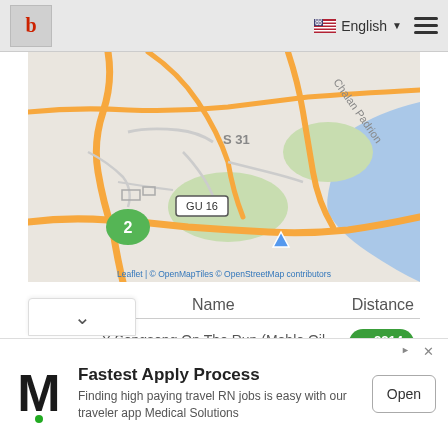b | English ☰
[Figure (map): Street map of Guam showing roads including GU 16, S 31, Chalan Padrion highway, a green cluster marker labeled 2, and a blue water body on the right. Attribution: Leaflet | © OpenMapTiles © OpenStreetMap contributors]
| # | Name | Distance |
| --- | --- | --- |
| 1 | Y-Sengsong On The Run (Moble Oil Guam Inc.) | 2214 m |
[Figure (infographic): Advertisement banner: M logo (Medical Solutions), headline 'Fastest Apply Process', body 'Finding high paying travel RN jobs is easy with our traveler app Medical Solutions', and Open button]